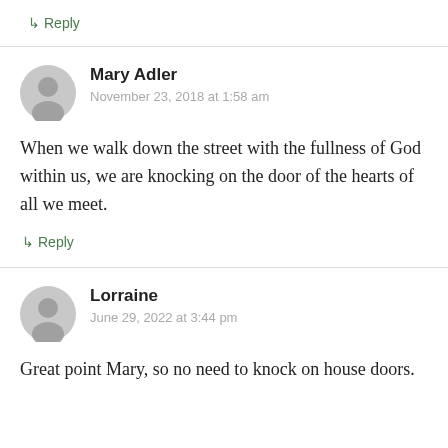↳ Reply
Mary Adler
November 23, 2018 at 1:58 am
When we walk down the street with the fullness of God within us, we are knocking on the door of the hearts of all we meet.
↳ Reply
Lorraine
June 29, 2022 at 3:44 pm
Great point Mary, so no need to knock on house doors.